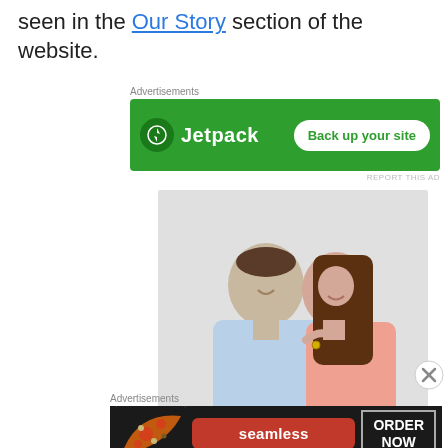seen in the Our Story section of the website.
[Figure (screenshot): Jetpack advertisement banner: green background with Jetpack logo and 'Back up your site' button]
[Figure (photo): Portrait photo of a smiling couple, man in light blue shirt and woman with long brown hair in pink top]
[Figure (screenshot): Seamless food delivery advertisement: dark background with pizza image, Seamless logo, and 'ORDER NOW' button]